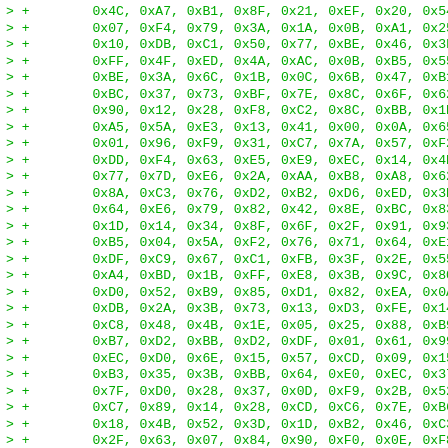> +        0x4C, 0xA7, 0xB1, 0x8F, 0x21, 0xEF, 0x20, 0x54,
> +        0x07, 0xF4, 0x79, 0x3A, 0x1A, 0x0B, 0xA1, 0x25,
> +        0x10, 0xDB, 0xC1, 0x50, 0x77, 0xBE, 0x46, 0x3F,
> +        0xFF, 0x4F, 0xED, 0x4A, 0xAC, 0x0B, 0xB5, 0x55,
> +        0xBE, 0x3A, 0x6C, 0x1B, 0x0C, 0x6B, 0x47, 0xB1,
> +        0xBC, 0x37, 0x73, 0xBF, 0x7E, 0x8C, 0x6F, 0x62,
> +        0x90, 0x12, 0x28, 0xF8, 0xC2, 0x8C, 0xBB, 0x1B,
> +        0xA5, 0x5A, 0xE3, 0x13, 0x41, 0x00, 0x0A, 0x65,
> +        0x01, 0x96, 0xF9, 0x31, 0xC7, 0x7A, 0x57, 0xF2,
> +        0xDD, 0xF4, 0x63, 0xE5, 0xE9, 0xEC, 0x14, 0x4B,
> +        0x77, 0x7D, 0xE6, 0x2A, 0xAA, 0xB8, 0xA8, 0x62,
> +        0x8A, 0xC3, 0x76, 0xD2, 0xB2, 0xD6, 0xED, 0x3B,
> +        0x64, 0xE6, 0x79, 0x82, 0x42, 0x8E, 0xBC, 0x83,
> +        0x1D, 0x14, 0x34, 0x8F, 0x6F, 0x2F, 0x91, 0x93,
> +        0xB5, 0x04, 0x5A, 0xF2, 0x76, 0x71, 0x64, 0xE1,
> +        0xDF, 0xC9, 0x67, 0xC1, 0xFB, 0x3F, 0x2E, 0x55,
> +        0xA4, 0xBD, 0x1B, 0xFF, 0xE8, 0x3B, 0x9C, 0x80,
> +        0xD0, 0x52, 0xB9, 0x85, 0xD1, 0x82, 0xEA, 0x0A,
> +        0xDB, 0x2A, 0x3B, 0x73, 0x13, 0xD3, 0xFE, 0x14,
> +        0xC8, 0x48, 0x4B, 0x1E, 0x05, 0x25, 0x88, 0xB9,
> +        0xB7, 0xD2, 0xBB, 0xD2, 0xDF, 0x01, 0x61, 0x99,
> +        0xEC, 0xD0, 0x6E, 0x15, 0x57, 0xCD, 0x09, 0x15,
> +        0xB3, 0x35, 0x3B, 0xBB, 0x64, 0xE0, 0xEC, 0x37,
> +        0x7F, 0xD0, 0x28, 0x37, 0x0D, 0xF9, 0x2B, 0x52,
> +        0xC7, 0x89, 0x14, 0x28, 0xCD, 0xC6, 0x7E, 0xB6,
> +        0x18, 0x4B, 0x52, 0x3D, 0x1D, 0xB2, 0x46, 0xC3,
> +        0x2F, 0x63, 0x07, 0x84, 0x90, 0xF0, 0x0E, 0xF8,
> +        0xD6, 0x47, 0xD1, 0x48, 0xD4, 0x79, 0x54, 0x51,
> +        0x5E, 0x23, 0x27, 0xCF, 0xEF, 0x98, 0xC5, 0x82,
> +        0x66, 0x4B, 0x4C, 0x0F, 0x6C, 0xC4, 0x16, 0x59,
> +};